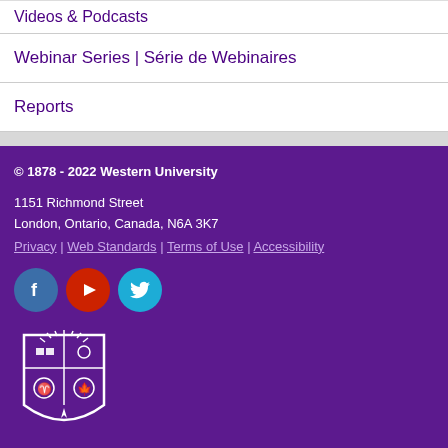Videos & Podcasts
Webinar Series | Série de Webinaires
Reports
© 1878 - 2022 Western University
1151 Richmond Street
London, Ontario, Canada, N6A 3K7
Privacy | Web Standards | Terms of Use | Accessibility
[Figure (logo): Western University shield logo with 'Western' wordmark in white on purple background]